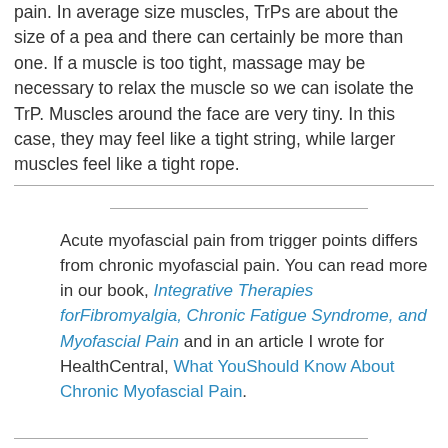pain. In average size muscles, TrPs are about the size of a pea and there can certainly be more than one. If a muscle is too tight, massage may be necessary to relax the muscle so we can isolate the TrP. Muscles around the face are very tiny. In this case, they may feel like a tight string, while larger muscles feel like a tight rope.
Acute myofascial pain from trigger points differs from chronic myofascial pain. You can read more in our book, Integrative Therapies forFibromyalgia, Chronic Fatigue Syndrome, and Myofascial Pain and in an article I wrote for HealthCentral, What YouShould Know About Chronic Myofascial Pain.